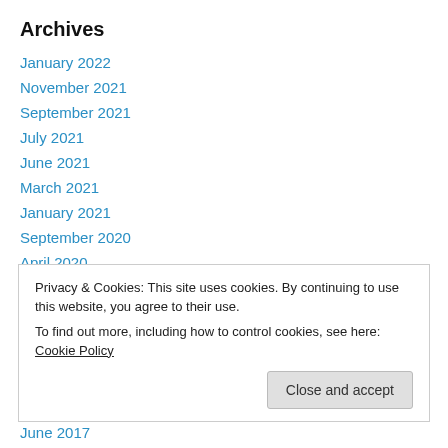Archives
January 2022
November 2021
September 2021
July 2021
June 2021
March 2021
January 2021
September 2020
April 2020
September 2019
June 2019
Privacy & Cookies: This site uses cookies. By continuing to use this website, you agree to their use. To find out more, including how to control cookies, see here: Cookie Policy
June 2017